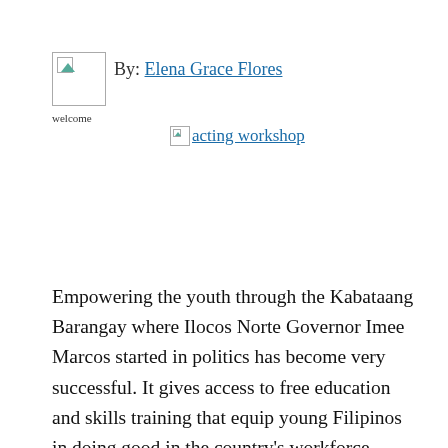[Figure (other): Broken image placeholder labeled 'welcome']
By: Elena Grace Flores
[Figure (other): Broken image placeholder labeled 'acting workshop']
Empowering the youth through the Kabataang Barangay where Ilocos Norte Governor Imee Marcos started in politics has become very successful. It gives access to free education and skills training that equip young Filipinos in doing good in the country's workforce. Some even become global players in the business. She acknowledges that social media is a big help for them to air their side when